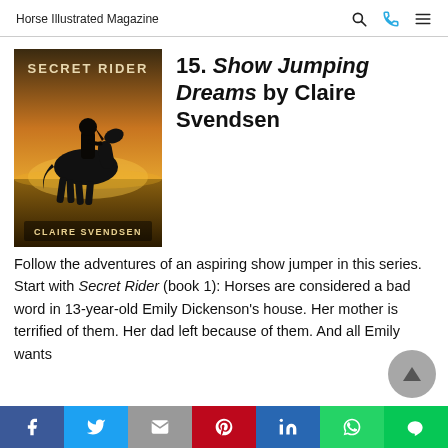Horse Illustrated Magazine
[Figure (illustration): Book cover of 'Secret Rider' by Claire Svendsen. Shows a silhouette of a rider on horseback against a warm golden sunset sky over a field. Text at top reads 'SECRET RIDER' and at bottom 'CLAIRE SVENDSEN'.]
15. Show Jumping Dreams by Claire Svendsen
Follow the adventures of an aspiring show jumper in this series. Start with Secret Rider (book 1): Horses are considered a bad word in 13-year-old Emily Dickenson's house. Her mother is terrified of them. Her dad left because of them. And all Emily wants